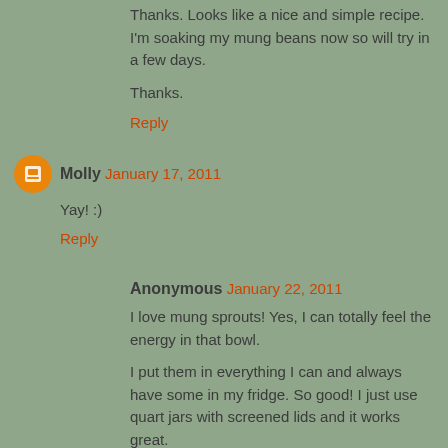Thanks. Looks like a nice and simple recipe. I'm soaking my mung beans now so will try in a few days.
Thanks.
Reply
Molly  January 17, 2011
Yay! :)
Reply
Anonymous  January 22, 2011
I love mung sprouts! Yes, I can totally feel the energy in that bowl.
I put them in everything I can and always have some in my fridge. So good! I just use quart jars with screened lids and it works great.
I found your blog from the Spark group Proud to be Vegan